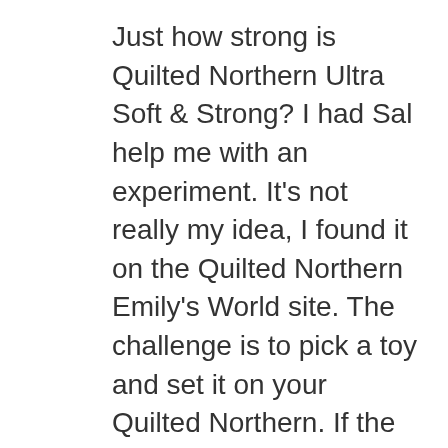Just how strong is Quilted Northern Ultra Soft & Strong? I had Sal help me with an experiment. It's not really my idea, I found it on the Quilted Northern Emily's World site. The challenge is to pick a toy and set it on your Quilted Northern. If the tissue doesn't break, you get a coupon. So we tried it with Jacob's Skylander's MegaBloks toy. As you can see, the tissue didn't break!